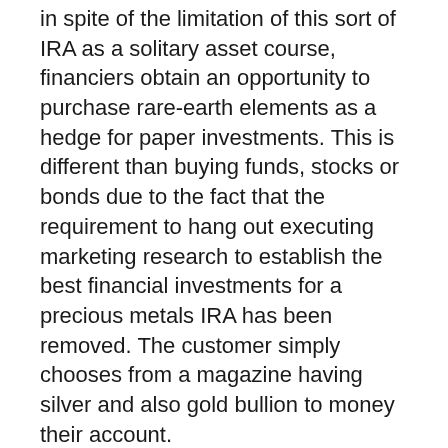in spite of the limitation of this sort of IRA as a solitary asset course, financiers obtain an opportunity to purchase rare-earth elements as a hedge for paper investments. This is different than buying funds, stocks or bonds due to the fact that the requirement to hang out executing marketing research to establish the best financial investments for a precious metals IRA has been removed. The customer simply chooses from a magazine having silver and also gold bullion to money their account.
The function of a Valuable Metals individual retirement account works the same way as a Roth or Standard Individual Retirement Account. Clients saving for retired life get an financial investment possibility with a tax advantage. A Golden Gold IRA has more advantages...